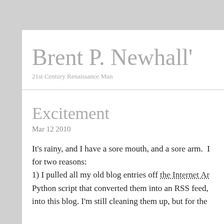Brent P. Newhall'
21st Century Renaissance Man
Excitement
Mar 12 2010
It's rainy, and I have a sore mouth, and a sore arm.  for two reasons:
1) I pulled all my old blog entries off the Internet Ar Python script that converted them into an RSS feed, into this blog. I'm still cleaning them up, but for the